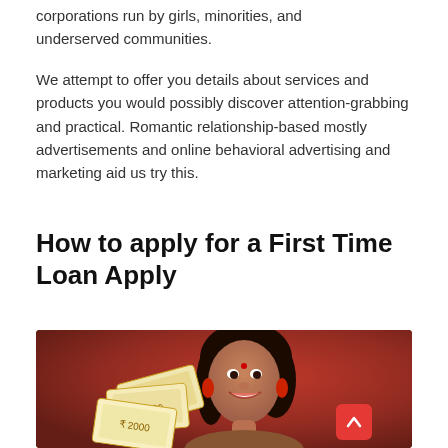corporations run by girls, minorities, and underserved communities.
We attempt to offer you details about services and products you would possibly discover attention-grabbing and practical. Romantic relationship-based mostly advertisements and online behavioral advertising and marketing aid us try this.
How to apply for a First Time Loan Apply
[Figure (photo): A smiling woman holding a fan of currency notes (Indian rupees) against a dark red background.]